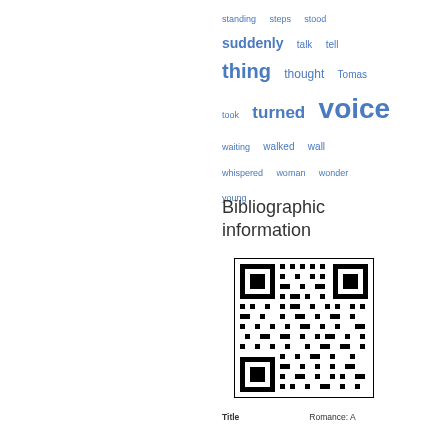[Figure (other): Word cloud with frequency-sized words in blue: standing, steps, stood, suddenly, talk, tell, thing, thought, Tomas, took, turned, voice, waiting, walked, wall, whispered, woman, wonder, young]
Bibliographic information
[Figure (other): QR code linking to bibliographic information]
Title    Romance: A